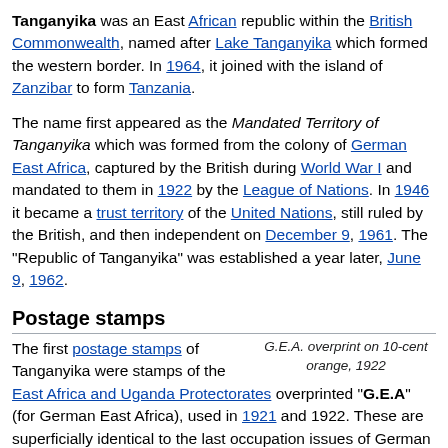Tanganyika was an East African republic within the British Commonwealth, named after Lake Tanganyika which formed the western border. In 1964, it joined with the island of Zanzibar to form Tanzania.
The name first appeared as the Mandated Territory of Tanganyika which was formed from the colony of German East Africa, captured by the British during World War I and mandated to them in 1922 by the League of Nations. In 1946 it became a trust territory of the United Nations, still ruled by the British, and then independent on December 9, 1961. The "Republic of Tanganyika" was established a year later, June 9, 1962.
Postage stamps
G.E.A. overprint on 10-cent orange, 1922
The first postage stamps of Tanganyika were stamps of the East Africa and Uganda Protectorates overprinted "G.E.A" (for German East Africa), used in 1921 and 1922. These are superficially identical to the last occupation issues of German East Africa, but the presence of the "Crown and Script CA" watermark shows they were issued after the civil administration took over from the military, and are thus properly considered the first issues of Tanganyika.
In 1922, the government issued a series